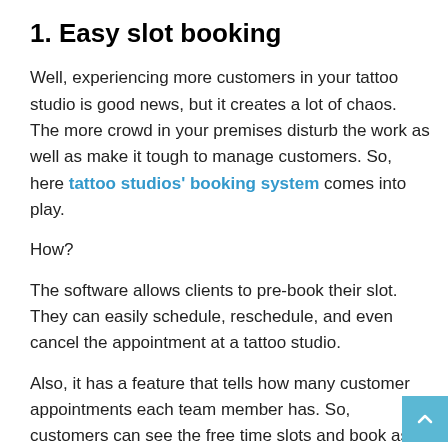1. Easy slot booking
Well, experiencing more customers in your tattoo studio is good news, but it creates a lot of chaos. The more crowd in your premises disturb the work as well as make it tough to manage customers. So, here tattoo studios' booking system comes into play.
How?
The software allows clients to pre-book their slot. They can easily schedule, reschedule, and even cancel the appointment at a tattoo studio.
Also, it has a feature that tells how many customer appointments each team member has. So, customers can see the free time slots and book as per their needs. In the end, it